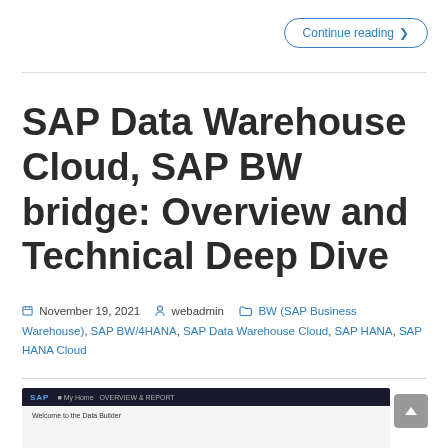Continue reading ›
SAP Data Warehouse Cloud, SAP BW bridge: Overview and Technical Deep Dive
November 19, 2021   webadmin   BW (SAP Business Warehouse), SAP BW/4HANA, SAP Data Warehouse Cloud, SAP HANA, SAP HANA Cloud
[Figure (screenshot): Screenshot of an SAP Data Builder interface with dark navigation bar and light content area showing 'Welcome to the Data Builder' text]